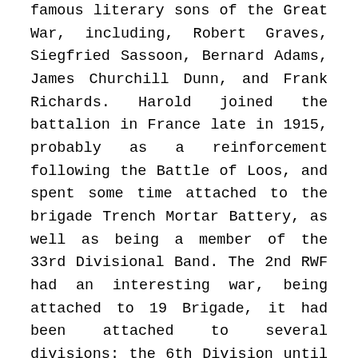famous literary sons of the Great War, including, Robert Graves, Siegfried Sassoon, Bernard Adams, James Churchill Dunn, and Frank Richards. Harold joined the battalion in France late in 1915, probably as a reinforcement following the Battle of Loos, and spent some time attached to the brigade Trench Mortar Battery, as well as being a member of the 33rd Divisional Band. The 2nd RWF had an interesting war, being attached to 19 Brigade, it had been attached to several divisions: the 6th Division until 31 May 1915 when it transferred with the Brigade to the 27th Division; on 19 August 1915 the Brigade transferred to the 2nd Division; on 25 November 1915 the Brigade transferred to the 33rd Division, taking part in the Battle of the Somme in 1916 and in the Third Battle of Ypres in 1917. On 6 February 1918 the 2nd RWF broke away from 19 Brigade and transferred to 115